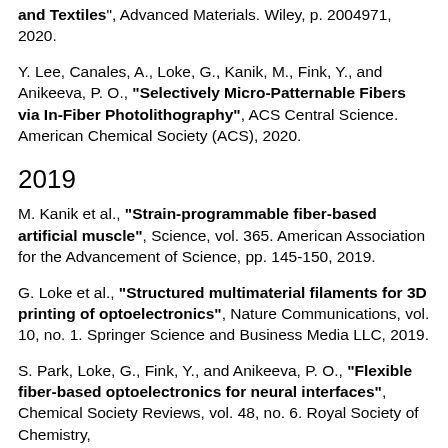and Textiles", Advanced Materials. Wiley, p. 2004971, 2020.
Y. Lee, Canales, A., Loke, G., Kanik, M., Fink, Y., and Anikeeva, P. O., "Selectively Micro-Patternable Fibers via In-Fiber Photolithography", ACS Central Science. American Chemical Society (ACS), 2020.
2019
M. Kanik et al., "Strain-programmable fiber-based artificial muscle", Science, vol. 365. American Association for the Advancement of Science, pp. 145-150, 2019.
G. Loke et al., "Structured multimaterial filaments for 3D printing of optoelectronics", Nature Communications, vol. 10, no. 1. Springer Science and Business Media LLC, 2019.
S. Park, Loke, G., Fink, Y., and Anikeeva, P. O., "Flexible fiber-based optoelectronics for neural interfaces", Chemical Society Reviews, vol. 48, no. 6. Royal Society of Chemistry,